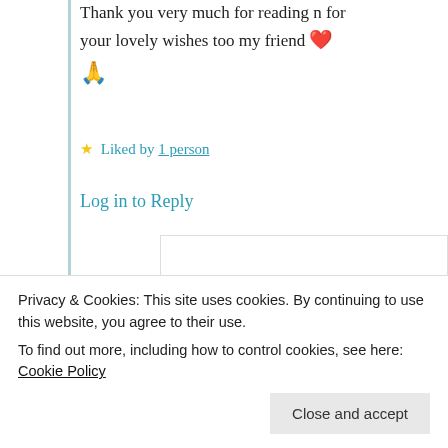Thank you very much for reading n for your lovely wishes too my friend ❤️ 🙏
★ Liked by 1 person
Log in to Reply
GraceoftheSun
15th Aug 2021 at
7:57 pm
Privacy & Cookies: This site uses cookies. By continuing to use this website, you agree to their use.
To find out more, including how to control cookies, see here: Cookie Policy
Close and accept
Advertisements